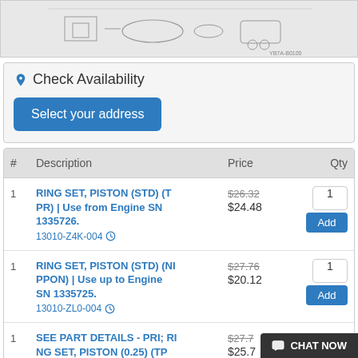[Figure (engineering-diagram): Technical parts diagram showing engine piston ring components, with part number label YB7A-B0100 at bottom right]
Check Availability
Select your address
| # | Description | Price | Qty |
| --- | --- | --- | --- |
| 1 | RING SET, PISTON (STD) (T PR) | Use from Engine SN 1335726.
13010-Z4K-004 | $26.32 / $24.48 | 1 / Add |
| 1 | RING SET, PISTON (STD) (NIPPON) | Use up to Engine SN 1335725.
13010-ZL0-004 | $27.76 / $20.12 | 1 / Add |
| 1 | SEE PART DETAILS - PRI; RING SET, PISTON (0.25) (TP R) | (Optionally Use from E... | $27.7... / $25.7... | Add |